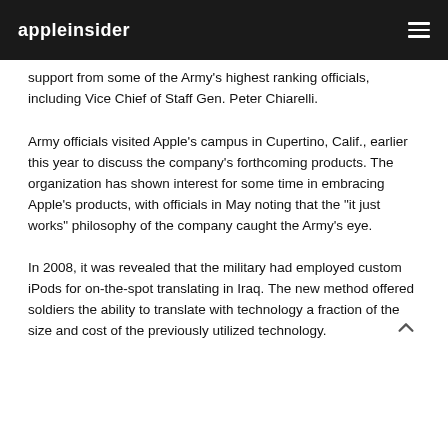appleinsider
support from some of the Army's highest ranking officials, including Vice Chief of Staff Gen. Peter Chiarelli.
Army officials visited Apple's campus in Cupertino, Calif., earlier this year to discuss the company's forthcoming products. The organization has shown interest for some time in embracing Apple's products, with officials in May noting that the "it just works" philosophy of the company caught the Army's eye.
In 2008, it was revealed that the military had employed custom iPods for on-the-spot translating in Iraq. The new method offered soldiers the ability to translate with technology a fraction of the size and cost of the previously utilized technology.